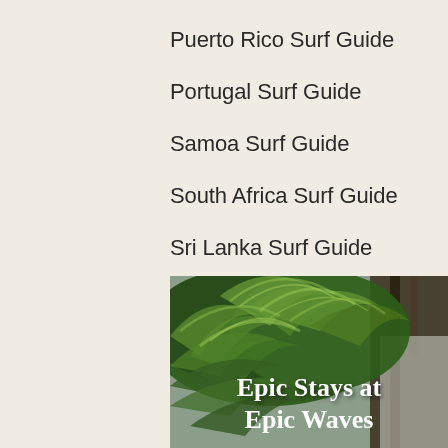Puerto Rico Surf Guide
Portugal Surf Guide
Samoa Surf Guide
South Africa Surf Guide
Sri Lanka Surf Guide
[Figure (photo): Lush green tropical palm fronds photographed from below against a wooden structure, with white text overlay reading 'Epic Stays at Epic Waves']
Epic Stays at Epic Waves